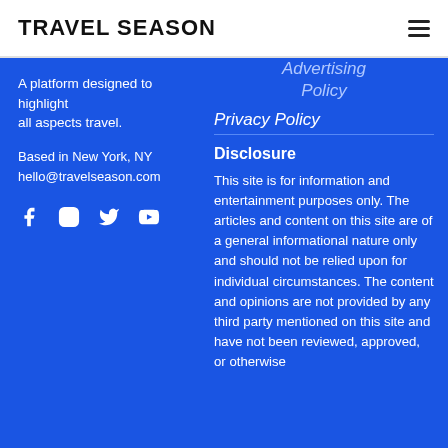TRAVEL SEASON
A platform designed to highlight all aspects travel.
Based in New York, NY
hello@travelseason.com
[Figure (illustration): Social media icons: Facebook, Instagram, Twitter, YouTube]
Advertising Policy
Privacy Policy
Disclosure
This site is for information and entertainment purposes only. The articles and content on this site are of a general informational nature only and should not be relied upon for individual circumstances. The content and opinions are not provided by any third party mentioned on this site and have not been reviewed, approved, or otherwise